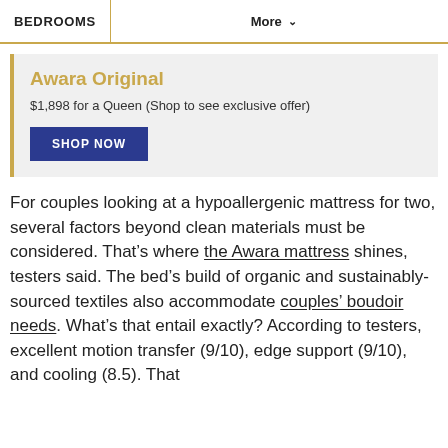BEDROOMS | More ∨
Awara Original
$1,898 for a Queen (Shop to see exclusive offer)
SHOP NOW
For couples looking at a hypoallergenic mattress for two, several factors beyond clean materials must be considered. That’s where the Awara mattress shines, testers said. The bed’s build of organic and sustainably-sourced textiles also accommodate couples’ boudoir needs. What’s that entail exactly? According to testers, excellent motion transfer (9/10), edge support (9/10), and cooling (8.5). That